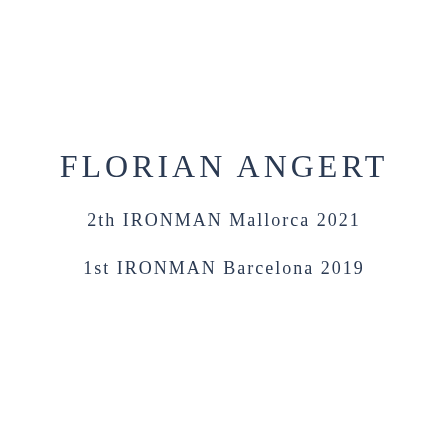FLORIAN ANGERT
2th IRONMAN Mallorca 2021
1st IRONMAN Barcelona 2019